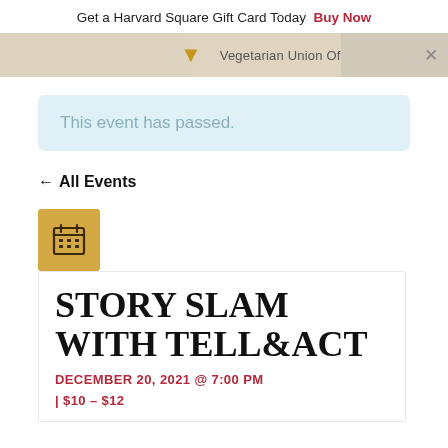Get a Harvard Square Gift Card Today  Buy Now
[Figure (screenshot): Partial map strip showing a downward arrow icon and 'Vegetarian Union Of' label with an X button]
This event has passed.
← All Events
[Figure (other): Gold/yellow calendar icon box]
STORY SLAM WITH TELL&ACT
DECEMBER 20, 2021 @ 7:00 PM | $10 – $12